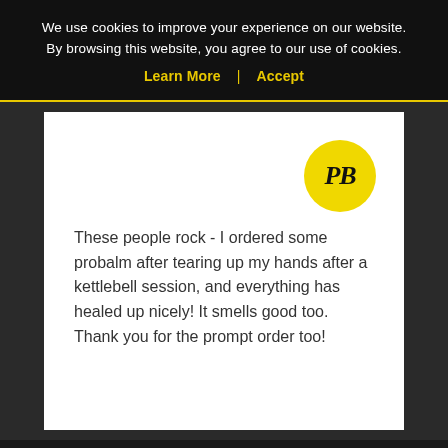We use cookies to improve your experience on our website. By browsing this website, you agree to our use of cookies.
Learn More  |  Accept
[Figure (logo): Yellow circle with black italic letters PB - ProBalm logo]
These people rock - I ordered some probalm after tearing up my hands after a kettlebell session, and everything has healed up nicely! It smells good too. Thank you for the prompt order too!